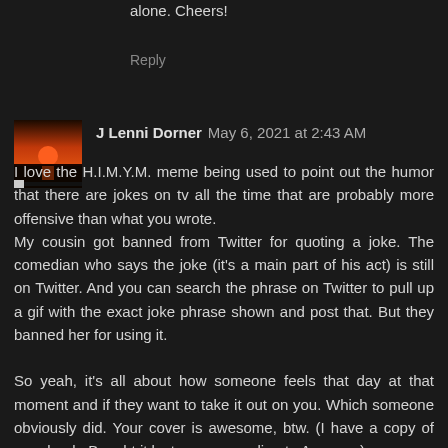alone. Cheers!
Reply
[Figure (photo): Avatar image showing a red/orange sunset over water]
J Lenni Dorner  May 6, 2021 at 2:43 AM
I love the H.I.M.Y.M. meme being used to point out the humor that there are jokes on tv all the time that are probably more offensive than what you wrote.
My cousin got banned from Twitter for quoting a joke. The comedian who says the joke (it's a main part of his act) is still on Twitter. And you can search the phrase on Twitter to pull up a gif with the exact joke phrase shown and post that. But they banned her for using it.

So yeah, it's all about how someone feels that day at that moment and if they want to take it out on you. Which someone obviously did. Your cover is awesome, btw. (I have a copy of your book. Bought it last year, according to Amazon.)
J Lenni Dorner (he/him 🏳️‍🌈 or 🏳️‍⚧️ they/them) ~ Co-host of the